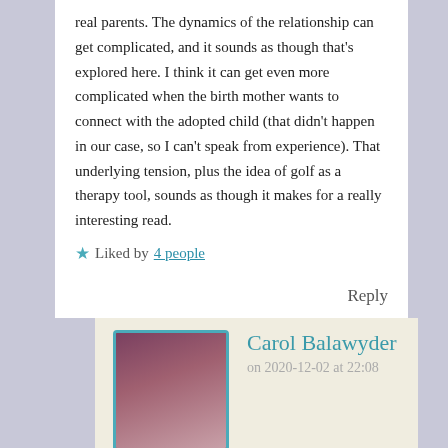real parents. The dynamics of the relationship can get complicated, and it sounds as though that's explored here. I think it can get even more complicated when the birth mother wants to connect with the adopted child (that didn't happen in our case, so I can't speak from experience). That underlying tension, plus the idea of golf as a therapy tool, sounds as though it makes for a really interesting read.
★ Liked by 4 people
Reply
Carol Balawyder
on 2020-12-02 at 22:08
Thank you, Margot for sharing your experience as an adoptive/real mother. Although this is not a crime genre book it does have quite a bit of suspense in it and is a comforting read.
★ Liked by 1 person